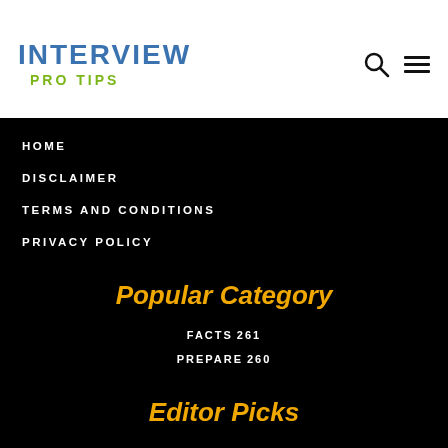INTERVIEW PRO TIPS
HOME
DISCLAIMER
TERMS AND CONDITIONS
PRIVACY POLICY
Popular Category
FACTS 261
PREPARE 260
EXCLUSIVE 244
TRENDING 236
EDITOR PICKS 228
MUST READ 219
Editor Picks